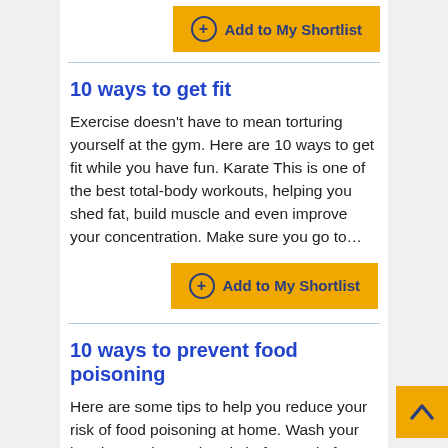Add to My Shortlist
10 ways to get fit
Exercise doesn't have to mean torturing yourself at the gym. Here are 10 ways to get fit while you have fun. Karate This is one of the best total-body workouts, helping you shed fat, build muscle and even improve your concentration. Make sure you go to…
Add to My Shortlist
10 ways to prevent food poisoning
Here are some tips to help you reduce your risk of food poisoning at home. Wash your hands. Wash your hands before and after...